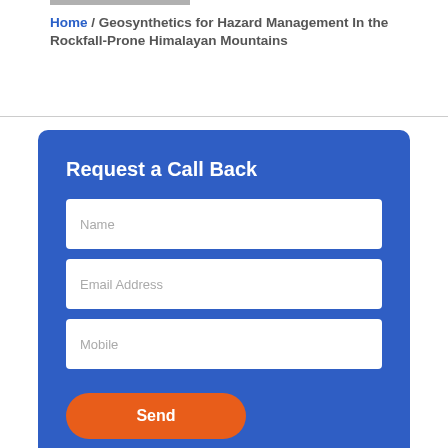Home / Geosynthetics for Hazard Management In the Rockfall-Prone Himalayan Mountains
Request a Call Back
Name
Email Address
Mobile
Send